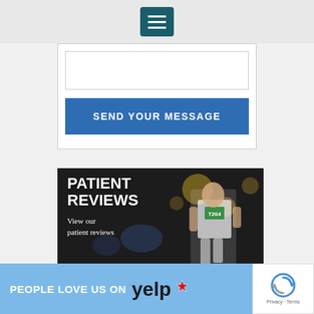Navigation menu button
SEND YOUR MESSAGE
[Figure (photo): A young male athlete running in a track race wearing a white singlet with number T264, against a dark bokeh background. Text overlay reads 'PATIENT REVIEWS' and 'View our patient reviews']
PEOPLE LOVE US ON yelp